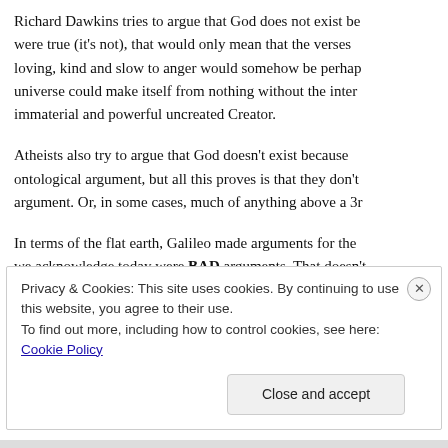Richard Dawkins tries to argue that God does not exist be were true (it's not), that would only mean that the verses loving, kind and slow to anger would somehow be perhap universe could make itself from nothing without the inter immaterial and powerful uncreated Creator.
Atheists also try to argue that God doesn't exist because ontological argument, but all this proves is that they don't argument. Or, in some cases, much of anything above a 3r
In terms of the flat earth, Galileo made arguments for the we acknowledge today were BAD arguments. That doesn't It just means Galileo needed better arguments.
Privacy & Cookies: This site uses cookies. By continuing to use this website, you agree to their use.
To find out more, including how to control cookies, see here: Cookie Policy